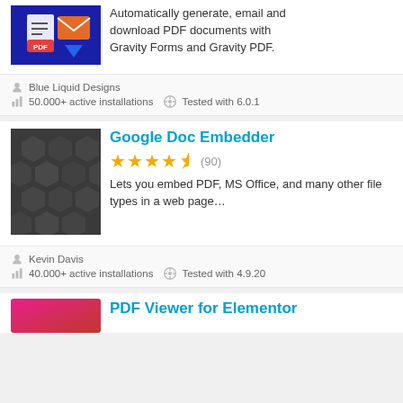[Figure (screenshot): Plugin listing screenshot - partial top card showing PDF plugin image and description]
Automatically generate, email and download PDF documents with Gravity Forms and Gravity PDF.
Blue Liquid Designs
50.000+ active installations  Tested with 6.0.1
[Figure (screenshot): Google Doc Embedder plugin icon - dark gray hexagon pattern]
Google Doc Embedder
4.5 stars (90)
Lets you embed PDF, MS Office, and many other file types in a web page...
Kevin Davis
40.000+ active installations  Tested with 4.9.20
[Figure (screenshot): PDF Viewer for Elementor plugin icon - partial, pink/red gradient]
PDF Viewer for Elementor